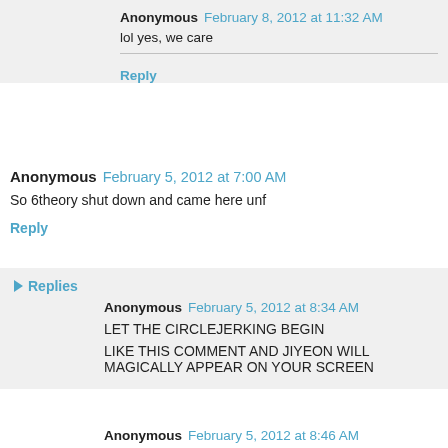Anonymous February 8, 2012 at 11:32 AM
lol yes, we care
Reply
Anonymous February 5, 2012 at 7:00 AM
So 6theory shut down and came here unf
Reply
▶ Replies
Anonymous February 5, 2012 at 8:34 AM
LET THE CIRCLEJERKING BEGIN

LIKE THIS COMMENT AND JIYEON WILL MAGICALLY APPEAR ON YOUR SCREEN
Anonymous February 5, 2012 at 8:46 AM